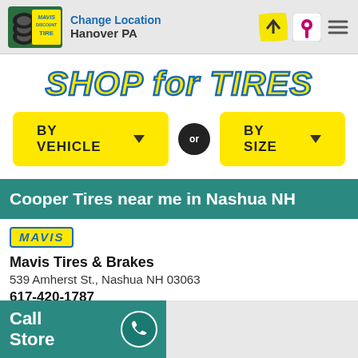Change Location
Hanover PA
SHOP for TIRES
BY VEHICLE ▼ OR BY SIZE ▼
Cooper Tires near me in Nashua NH
[Figure (logo): Mavis badge/logo yellow with blue text italic]
Mavis Tires & Brakes
539 Amherst St., Nashua NH 03063
617-420-1787
Make My Store | Schedule Appointment
Call Store